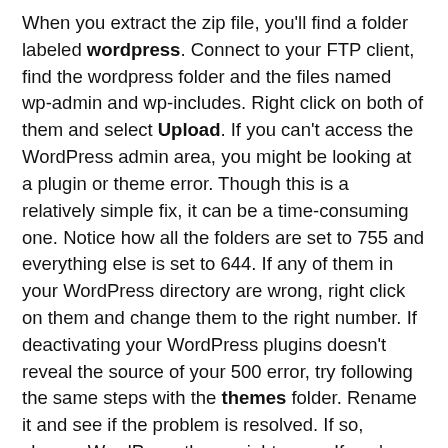When you extract the zip file, you'll find a folder labeled wordpress. Connect to your FTP client, find the wordpress folder and the files named wp-admin and wp-includes. Right click on both of them and select Upload. If you can't access the WordPress admin area, you might be looking at a plugin or theme error. Though this is a relatively simple fix, it can be a time-consuming one. Notice how all the folders are set to 755 and everything else is set to 644. If any of them in your WordPress directory are wrong, right click on them and change them to the right number. If deactivating your WordPress plugins doesn't reveal the source of your 500 error, try following the same steps with the themes folder. Rename it and see if the problem is resolved. If so, change WordPress theme right away. If you've tried all of the above-mentioned troubleshooting tips, and your 500 internal server error is still there, it's time to reach out to your hosting provider. Your web host should be able to help you identify the issue and resolve, so long as they have a knowledgeable (and available) support